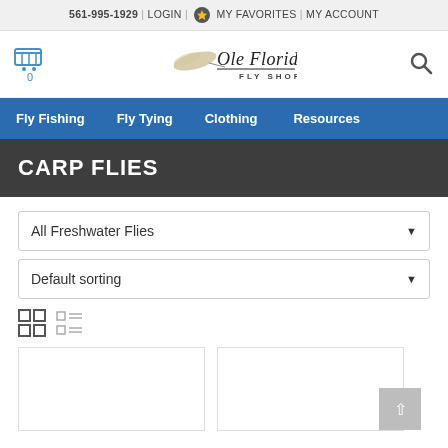561-995-1929 | LOGIN | MY FAVORITES | MY ACCOUNT
[Figure (logo): Ole Florida Fly Shop logo with fly fishing lure graphic, cart icon on left, search icon on right]
Fly Fishing | Fly Tying | Clothing | Resources
CARP FLIES
All Freshwater Flies
Default sorting
[Figure (screenshot): Grid view and list view toggle icons]
[Figure (screenshot): Two product card placeholders (empty white boxes)]